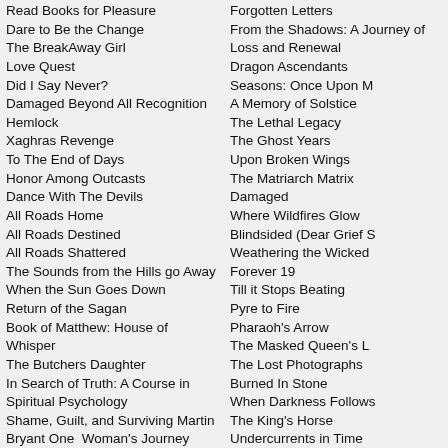Read Books for Pleasure
Dare to Be the Change
The BreakAway Girl
Love Quest
Did I Say Never?
Damaged Beyond All Recognition
Hemlock
Xaghras Revenge
To The End of Days
Honor Among Outcasts
Dance With The Devils
All Roads Home
All Roads Destined
All Roads Shattered
The Sounds from the Hills go Away When the Sun Goes Down
Return of the Sagan
Book of Matthew: House of Whisper
The Butchers Daughter
In Search of Truth: A Course in Spiritual Psychology
Shame, Guilt, and Surviving Martin Bryant One Woman's Journey from Terror to Joy
Red and Blue
Reality Gold
Voice of a Crimson Angel Part II: Poison
The Real World Behind the Curtain of Expectations
River's Child
Slay the Dragon
Man on Ice: Russia in the USA – in Alaska
Forgotten Letters
From the Shadows: A Journey of Loss and Renewal
Dragon Ascendants
Seasons: Once Upon M
A Memory of Solstice
The Lethal Legacy
The Ghost Years
Upon Broken Wings
The Matriarch Matrix
Damaged
Where Wildfires Glow
Blindsided (Dear Grief S
Weathering the Wicked
Forever 19
Till it Stops Beating
Pyre to Fire
Pharaoh's Arrow
The Masked Queen's L
The Lost Photographs
Burned In Stone
When Darkness Follows
The King's Horse
Undercurrents in Time
Tainted Evidence
Penchant Revealed
Caution to the Wind
I am Still a Rose
Pretty Dolls and Hand G
Kill the Teachers! Mexico
Human Rights